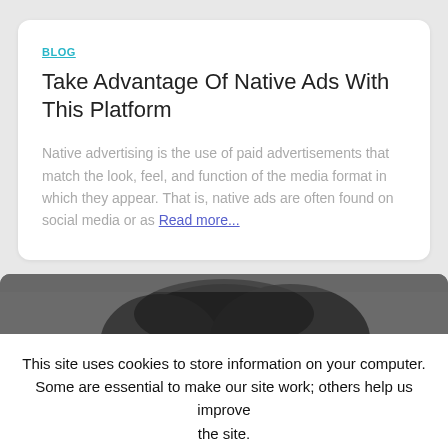BLOG
Take Advantage Of Native Ads With This Platform
Native advertising is the use of paid advertisements that match the look, feel, and function of the media format in which they appear. That is, native ads are often found on social media or as Read more...
[Figure (photo): Partial photo of a person or animal with dark curly hair, cropped at top of frame, blurred background]
This site uses cookies to store information on your computer. Some are essential to make our site work; others help us improve the site. By continuing to use this site, you consent to the placement of these cookies.
Accept   Read More